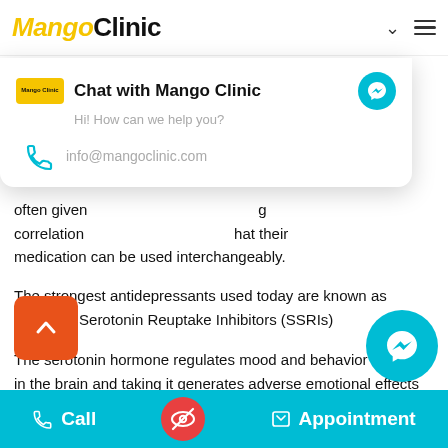Mango Clinic
[Figure (screenshot): Chat with Mango Clinic popup overlay showing logo, title, messenger icon, subtitle 'Hi! How can we help you?' and email info@mangoclinic.com with phone icon]
often given ... g correlation ... that their medication can be used interchangeably.
The strongest antidepressants used today are known as Selective Serotonin Reuptake Inhibitors (SSRIs)
The serotonin hormone regulates mood and behavior changes in the brain and taking it generates adverse emotional effects such as anxiety, stress, and depression.
S...ures that serotonin remains for more extended p...and goes on regulating mood and emotional balance. They're not addictive, but known side effects include
Call   Appointment